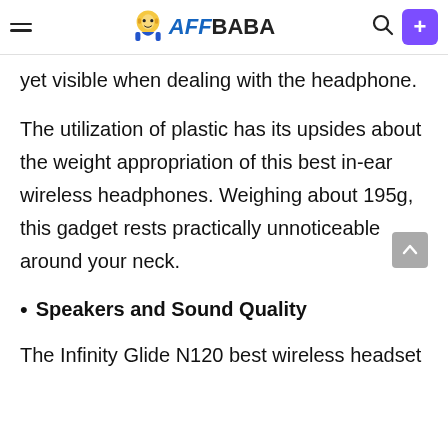AFFBABA
yet visible when dealing with the headphone.
The utilization of plastic has its upsides about the weight appropriation of this best in-ear wireless headphones. Weighing about 195g, this gadget rests practically unnoticeable around your neck.
Speakers and Sound Quality
The Infinity Glide N120 best wireless headset